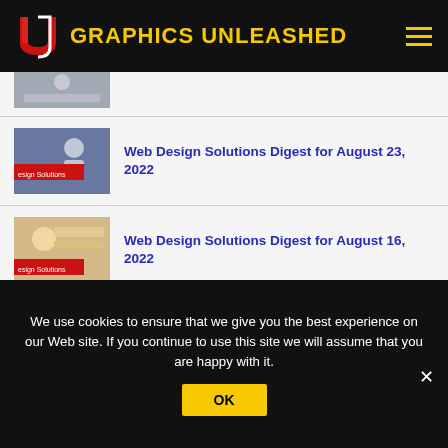GRAPHICS UNLEASHED
[Figure (screenshot): Partially visible thumbnail image at top]
Web Design Solutions Digest for August 23, 2022
Web Design Solutions Digest for August 16, 2022
Web Design Solutions Digest for August 9, 2022
We use cookies to ensure that we give you the best experience on our Web site. If you continue to use this site we will assume that you are happy with it.